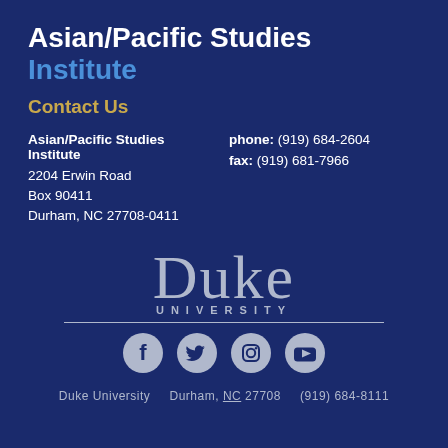Asian/Pacific Studies Institute
Contact Us
Asian/Pacific Studies Institute
2204 Erwin Road
Box 90411
Durham, NC 27708-0411
phone: (919) 684-2604
fax: (919) 681-7966
[Figure (logo): Duke University logo with large serif 'Duke' text and 'UNIVERSITY' in spaced capitals below, followed by a horizontal rule and social media icons (Facebook, Twitter, Instagram, YouTube)]
Duke University    Durham, NC 27708    (919) 684-8111